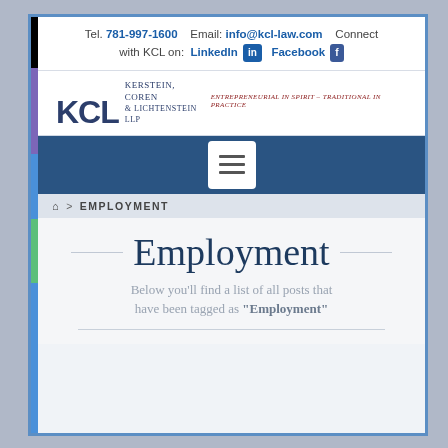Tel. 781-997-1600  Email: info@kcl-law.com  Connect with KCL on: LinkedIn  Facebook
[Figure (logo): KCL Kerstein, Coren & Lichtenstein LLP logo with tagline Entrepreneurial in Spirit – Traditional in Practice]
[Figure (screenshot): Navigation hamburger menu button (three horizontal bars) on dark blue background]
🏠 > EMPLOYMENT
Employment
Below you'll find a list of all posts that have been tagged as "Employment"